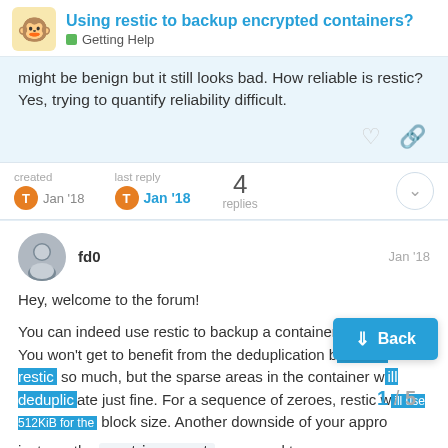Using restic to backup encrypted containers? — Getting Help
might be benign but it still looks bad. How reliable is restic? Yes, trying to quantify reliability difficult.
created Jan '18   last reply Jan '18   4 replies
fd0   Jan '18
Hey, welcome to the forum!
You can indeed use restic to backup a container, that'll work. You won't get to benefit from the deduplication built into restic so much, but the sparse areas in the container will deduplicate just fine. For a sequence of zeroes, restic will use 512KiB for the block size. Another downside of your approach is that you can't just use the restic mount command to